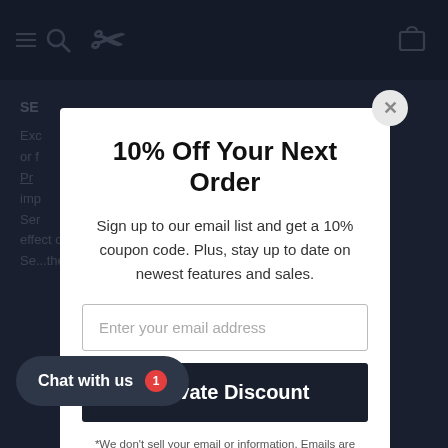Navigation bar with hamburger menu, search icon, logo, and cart icon
10% Off Your Next Order
Sign up to our email list and get a 10% coupon code. Plus, stay up to date on newest features and sales.
Enter your email address
Activate Discount
*We don't sell your email or information. Emails are used solely for email marketing purposes.
SE...
Exc... or f... al Pr... imp... Ser... oducts to you hereunder shall have no effect on our Intellectual Property Rights with respect to the Se... the ... including, without limitation...
Chat with us